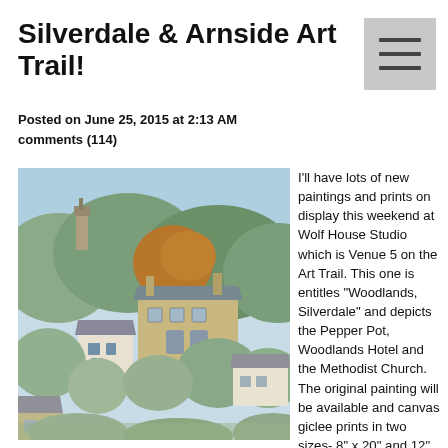Silverdale & Arnside Art Trail!
Posted on June 25, 2015 at 2:13 AM
comments (114)
[Figure (illustration): Painting titled 'Woodlands, Silverdale' depicting the Pepper Pot, Woodlands Hotel and Methodist Church amid trees and village buildings.]
I'll have lots of new paintings and prints on display this weekend at Wolf House Studio which is Venue 5 on the Art Trail. This one is entitles "Woodlands, Silverdale" and depicts the Pepper Pot, Woodlands Hotel and the Methodist Church. The original painting will be available and canvas giclee prints in two sizes- 8" x 20" and 12" x 32"